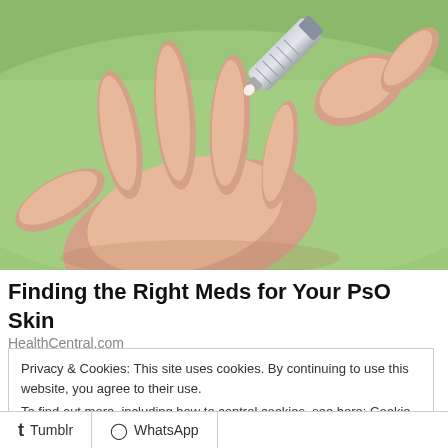[Figure (photo): Close-up photo of a hand with an open palm while another hand squeezes cream/ointment from a silver tube onto the fingers, set against a blurred green outdoor background.]
Finding the Right Meds for Your PsO Skin
HealthCentral.com
Privacy & Cookies: This site uses cookies. By continuing to use this website, you agree to their use.
To find out more, including how to control cookies, see here: Cookie Policy
Close and accept
Tumblr  WhatsApp